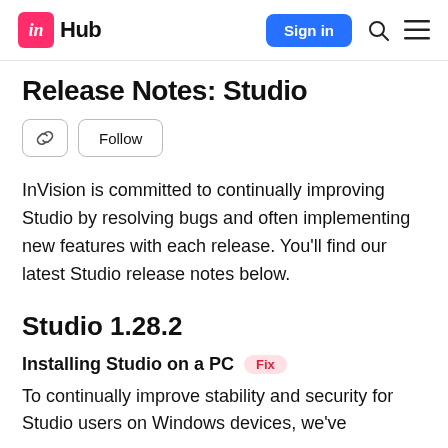in Hub | Sign in
Release Notes: Studio
InVision is committed to continually improving Studio by resolving bugs and often implementing new features with each release. You'll find our latest Studio release notes below.
Studio 1.28.2
Installing Studio on a PC   Fix
To continually improve stability and security for Studio users on Windows devices, we've